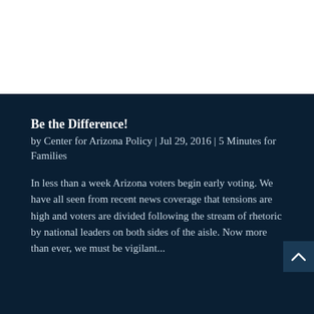Be the Difference!
by Center for Arizona Policy | Jul 29, 2016 | 5 Minutes for Families
In less than a week Arizona voters begin early voting. We have all seen from recent news coverage that tensions are high and voters are divided following the stream of rhetoric by national leaders on both sides of the aisle. Now more than ever, we must be vigilant...